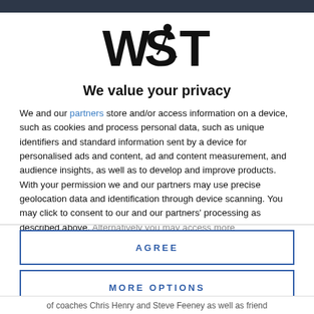[Figure (logo): WST logo — bold stylized letters WST with a snooker player silhouette incorporated]
We value your privacy
We and our partners store and/or access information on a device, such as cookies and process personal data, such as unique identifiers and standard information sent by a device for personalised ads and content, ad and content measurement, and audience insights, as well as to develop and improve products. With your permission we and our partners may use precise geolocation data and identification through device scanning. You may click to consent to our and our partners' processing as described above. Alternatively you may access more
AGREE
MORE OPTIONS
of coaches Chris Henry and Steve Feeney as well as friend